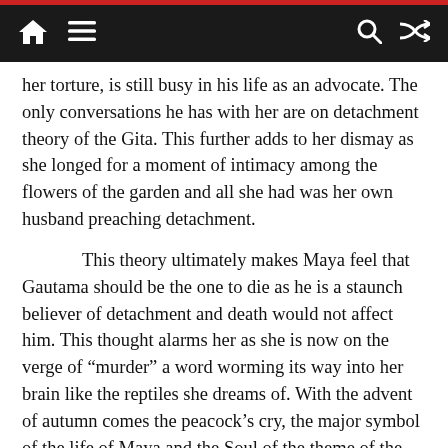Navigation bar with home, menu, search, and shuffle icons
her torture, is still busy in his life as an advocate. The only conversations he has with her are on detachment theory of the Gita. This further adds to her dismay as she longed for a moment of intimacy among the flowers of the garden and all she had was her own husband preaching detachment.
This theory ultimately makes Maya feel that Gautama should be the one to die as he is a staunch believer of detachment and death would not affect him. This thought alarms her as she is now on the verge of “murder” a word worming its way into her brain like the reptiles she dreams of. With the advent of autumn comes the peacock’s cry, the major symbol of the life of Maya and the Soul of the theme of the novel. The cries which sound like Pio, Pio meaning lover, lover and Mia…